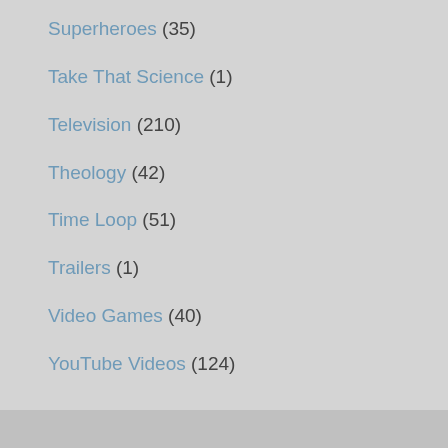Superheroes (35)
Take That Science (1)
Television (210)
Theology (42)
Time Loop (51)
Trailers (1)
Video Games (40)
YouTube Videos (124)